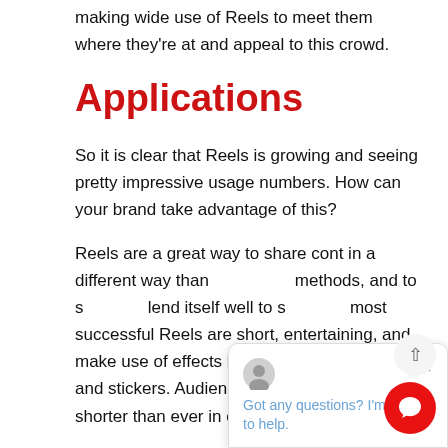making wide use of Reels to meet them where they're at and appeal to this crowd.
Applications
So it is clear that Reels is growing and seeing pretty impressive usage numbers.  How can your brand take advantage of this?
Reels are a great way to share content in a different way than [methods], and to share [content]. [It] lend itself well to [short content]. The most successful Reels are short, entertaining, and make use of effects like background music and stickers.  Audiences' attention spans are shorter than ever in our digital